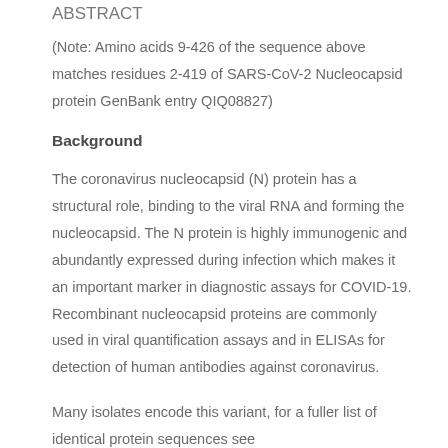ABSTRACT
(Note: Amino acids 9-426 of the sequence above matches residues 2-419 of SARS-CoV-2 Nucleocapsid protein GenBank entry QIQ08827)
Background
The coronavirus nucleocapsid (N) protein has a structural role, binding to the viral RNA and forming the nucleocapsid. The N protein is highly immunogenic and abundantly expressed during infection which makes it an important marker in diagnostic assays for COVID-19. Recombinant nucleocapsid proteins are commonly used in viral quantification assays and in ELISAs for detection of human antibodies against coronavirus.
Many isolates encode this variant, for a fuller list of identical protein sequences see